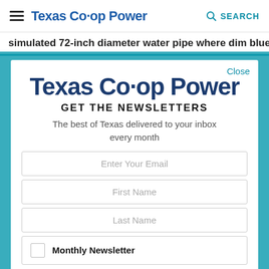Texas Co-op Power | SEARCH
simulated 72-inch diameter water pipe where dim blue
[Figure (screenshot): Texas Co-op Power newsletter signup modal overlay on teal background with logo, headline 'GET THE NEWSLETTERS', subtext, email/name form fields, and Monthly Newsletter checkbox option]
Texas Co-op Power
GET THE NEWSLETTERS
The best of Texas delivered to your inbox every month
Enter Your Email
First Name
Last Name
Monthly Newsletter